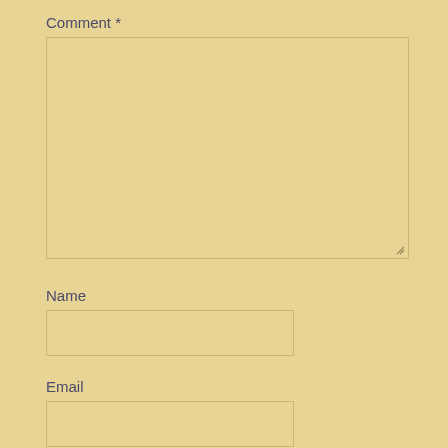Comment *
Name
Email
Website
POST COMMENT